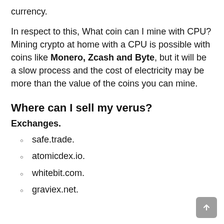currency.
In respect to this, What coin can I mine with CPU? Mining crypto at home with a CPU is possible with coins like Monero, Zcash and Byte, but it will be a slow process and the cost of electricity may be more than the value of the coins you can mine.
Where can I sell my verus?
Exchanges.
safe.trade.
atomicdex.io.
whitebit.com.
graviex.net.